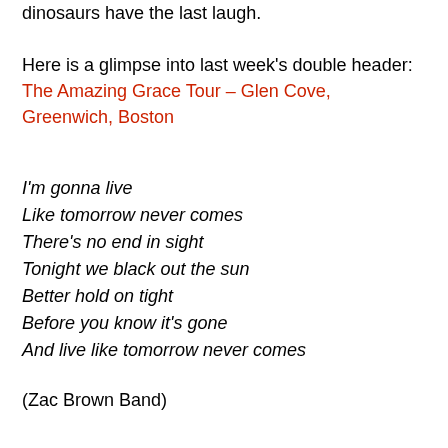dinosaurs have the last laugh.

Here is a glimpse into last week's double header: The Amazing Grace Tour – Glen Cove, Greenwich, Boston
I'm gonna live
Like tomorrow never comes
There's no end in sight
Tonight we black out the sun
Better hold on tight
Before you know it's gone
And live like tomorrow never comes
(Zac Brown Band)